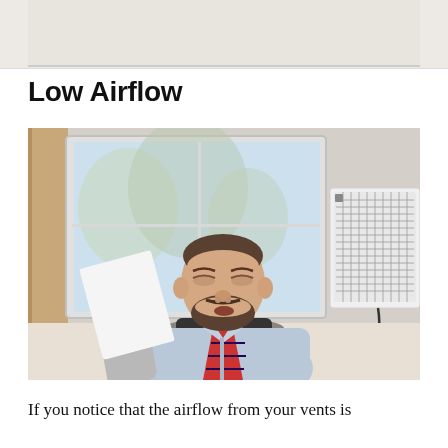[Figure (photo): Partial view of a document page top — light beige/gray background strip at the top of the page, likely the bottom of a previous section or image.]
Low Airflow
[Figure (photo): A man in a light blue dress shirt and a red and navy striped tie sits in a black office chair, leaning back with eyes closed and mouth slightly open, fanning himself with a sheet of paper. Behind him is a large white window with a view of bare winter trees, and a white wall-mounted air conditioning unit is visible on the right side.]
If you notice that the airflow from your vents is